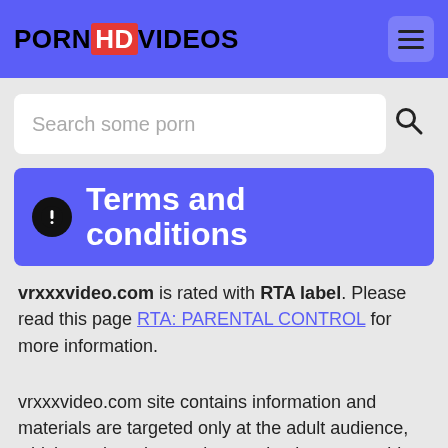PORNHDVIDEOS
Search some porn
Terms and conditions
vrxxxvideo.com is rated with RTA label. Please read this page RTA: PARENTAL CONTROL for more information.
vrxxxvideo.com site contains information and materials are targeted only at the adult audience, which can be adequately perceived unacceptable or dangerous for certain categories of visitors, such as nudity. Artistic image of